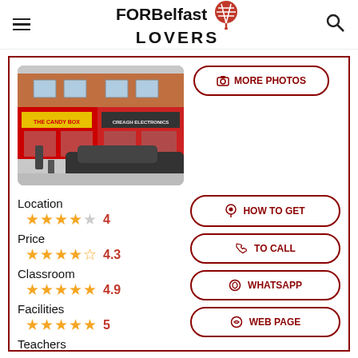FOR Belfast LOVERS
[Figure (photo): Street-level photo of a shop row including 'The Candy Box' and 'Creagh Electronics' with a dark SUV parked in front]
MORE PHOTOS
Location
4
Price
4.3
Classroom
4.9
Facilities
5
Teachers
HOW TO GET
TO CALL
WHATSAPP
WEB PAGE